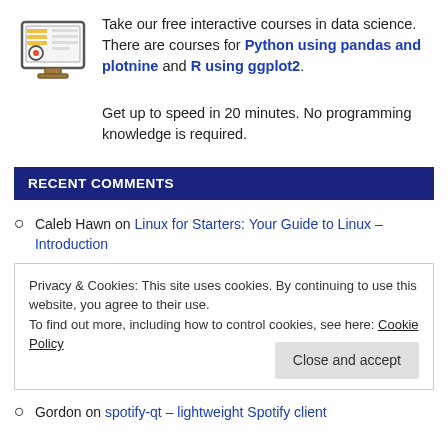Take our free interactive courses in data science. There are courses for Python using pandas and plotnine and R using ggplot2.
[Figure (illustration): Computer/monitor icon with colorful elements representing data science tools]
Get up to speed in 20 minutes. No programming knowledge is required.
RECENT COMMENTS
Caleb Hawn on Linux for Starters: Your Guide to Linux – Introduction
Privacy & Cookies: This site uses cookies. By continuing to use this website, you agree to their use. To find out more, including how to control cookies, see here: Cookie Policy
Gordon on spotify-qt – lightweight Spotify client